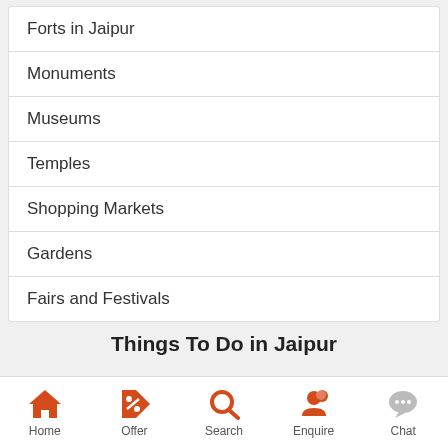Forts in Jaipur
Monuments
Museums
Temples
Shopping Markets
Gardens
Fairs and Festivals
Things To Do in Jaipur
Home | Offer | Search | Enquire | Chat